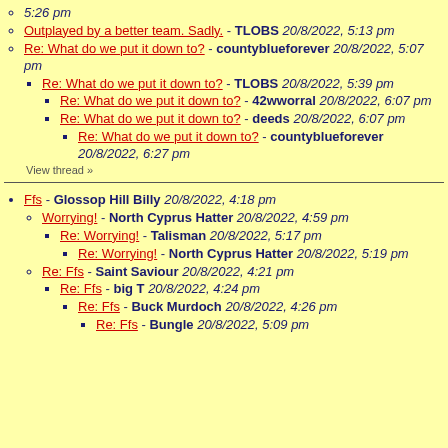5:26 pm
Outplayed by a better team. Sadly. - TLOBS 20/8/2022, 5:13 pm
Re: What do we put it down to? - countyblueforever 20/8/2022, 5:07 pm
Re: What do we put it down to? - TLOBS 20/8/2022, 5:39 pm
Re: What do we put it down to? - 42wworral 20/8/2022, 6:07 pm
Re: What do we put it down to? - deeds 20/8/2022, 6:07 pm
Re: What do we put it down to? - countyblueforever 20/8/2022, 6:27 pm
View thread »
Ffs - Glossop Hill Billy 20/8/2022, 4:18 pm
Worrying! - North Cyprus Hatter 20/8/2022, 4:59 pm
Re: Worrying! - Talisman 20/8/2022, 5:17 pm
Re: Worrying! - North Cyprus Hatter 20/8/2022, 5:19 pm
Re: Ffs - Saint Saviour 20/8/2022, 4:21 pm
Re: Ffs - big T 20/8/2022, 4:24 pm
Re: Ffs - Buck Murdoch 20/8/2022, 4:26 pm
Re: Ffs - Bungle 20/8/2022, 5:09 pm